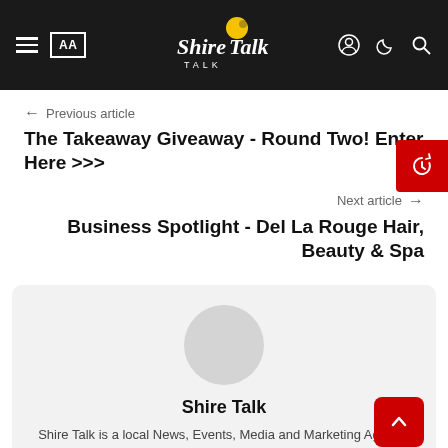Shire Talk — navigation header with logo, hamburger menu, AA font size button, user icon, dark mode icon, search icon
← Previous article
The Takeaway Giveaway - Round Two! Enter Here >>>
Next article →
Business Spotlight - Del La Rouge Hair, Beauty & Spa
[Figure (illustration): Grey circular avatar placeholder]
Shire Talk
Shire Talk is a local News, Events, Media and Marketing Agency.